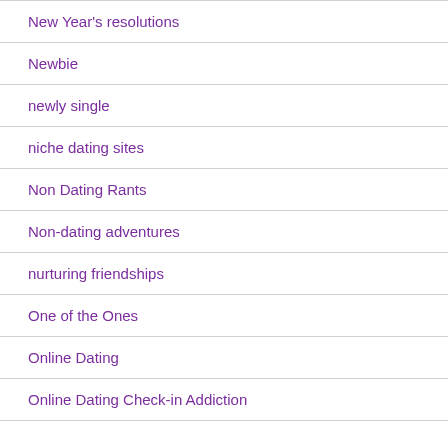New Year's resolutions
Newbie
newly single
niche dating sites
Non Dating Rants
Non-dating adventures
nurturing friendships
One of the Ones
Online Dating
Online Dating Check-in Addiction